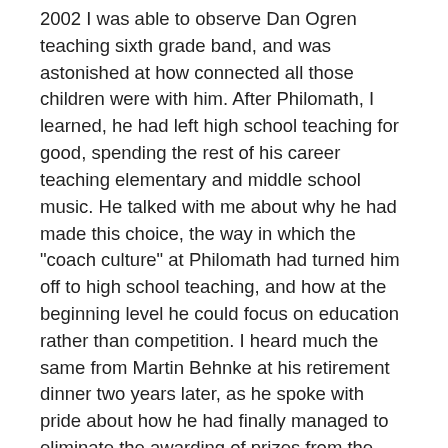2002 I was able to observe Dan Ogren teaching sixth grade band, and was astonished at how connected all those children were with him. After Philomath, I learned, he had left high school teaching for good, spending the rest of his career teaching elementary and middle school music. He talked with me about why he had made this choice, the way in which the "coach culture" at Philomath had turned him off to high school teaching, and how at the beginning level he could focus on education rather than competition. I heard much the same from Martin Behnke at his retirement dinner two years later, as he spoke with pride about how he had finally managed to eliminate the awarding of prizes from the Willamette University Jazz Festival because, as he said, music should never be a competitive sport.
A year after that dinner, I met Doug Goodkin, Orff teacher extraordinaire, and had my approach to teaching music turned on its head, as I learned the essential importance of play in the music classroom. I've written a lot about Doug, a teacher